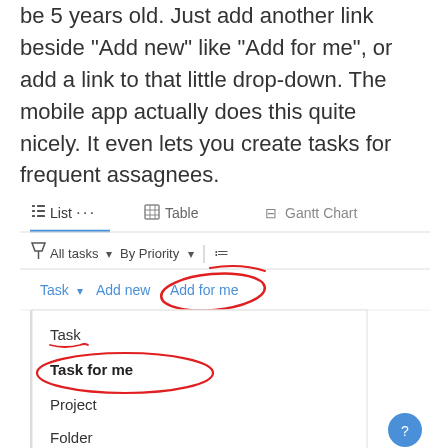be 5 years old. Just add another link beside "Add new" like "Add for me", or add a link to that little drop-down. The mobile app actually does this quite nicely. It even lets you create tasks for frequent assagnees.
[Figure (screenshot): Screenshot of a task management app showing List, Table, Gantt Chart tabs at top, filter bar with All tasks and By Priority dropdowns, and a task header row with Task, Add new, Add for me buttons. A red hand-drawn circle highlights 'Add for me'. Below is an open dropdown menu showing Task (with red underline), Task for me (with red circle), Project, Folder options. A blue help button appears bottom right.]